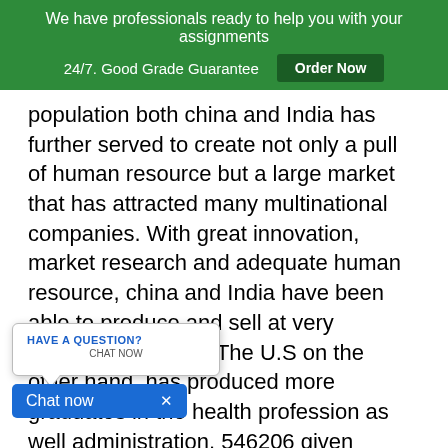We have professionals ready to help you with your assignments 24/7. Good Grade Guarantee Order Now
population both china and India has further served to create not only a pull of human resource but a large market that has attracted many multinational companies. With great innovation, market research and adequate human resource, china and India have been able to produce and sell at very competitive prices. The U.S on the other hand, has produced more graduates in the health profession as well administration. 546206 given across all the U.S universities in medical health sciences